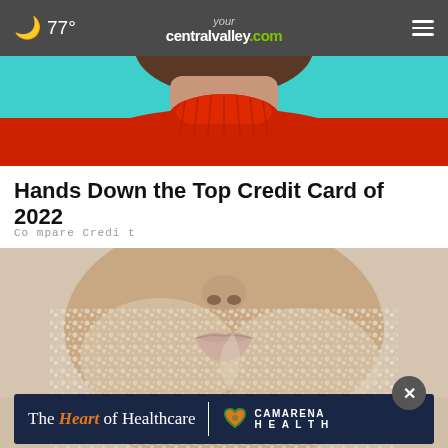🌙 77° | yourcentralvalley.com | ☰
[Figure (photo): Partial view of a person wearing a bright red turtleneck sweater against a teal/cyan background, cropped to show neck and shoulders area.]
Hands Down the Top Credit Card of 2022
CompareCredit
[Figure (photo): Close-up of a woman's face covered in salt crystals or sugar granules, showing nose and lips area on a light background.]
[Figure (other): Advertisement banner: The Heart of Healthcare | Camarena Health logo]